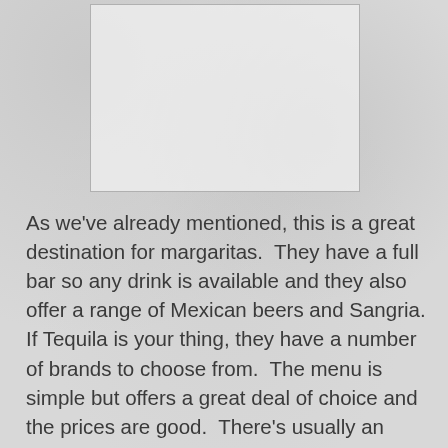[Figure (photo): A photograph placeholder showing a light marble or stone texture background within a bordered rectangle]
As we've already mentioned, this is a great destination for margaritas.  They have a full bar so any drink is available and they also offer a range of Mexican beers and Sangria.  If Tequila is your thing, they have a number of brands to choose from.  The menu is simple but offers a great deal of choice and the prices are good.  There's usually an appetizer